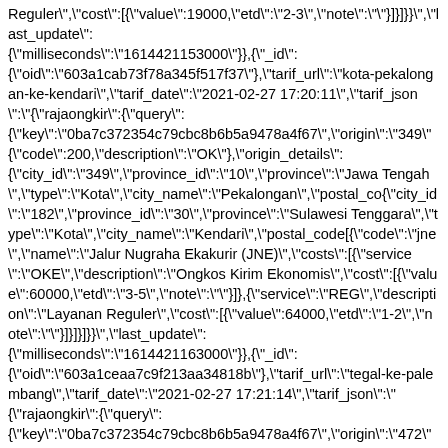Reguler","cost":[{"value":19000,"etd":"2-3","note":""}]}]}}","last_update":{"milliseconds":"1614421153000"}},{"_id":{"oid":"603a1cab73f78a345f517f37"},"tarif_url":"kota-pekalongan-ke-kendari","tarif_date":"2021-02-27 17:20:11","tarif_json":"{\"rajaongkir\":{\"query\":{\"key\":\"0ba7c372354c79cbc8b6b5a9478a4f67\",\"origin\":\"349\"{\"code\":200,\"description\":\"OK\"},\"origin_details\":{\"city_id\":\"349\",\"province_id\":\"10\",\"province\":\"Jawa Tengah\",\"type\":\"Kota\",\"city_name\":\"Pekalongan\",\"postal_co{\"city_id\":\"182\",\"province_id\":\"30\",\"province\":\"Sulawesi Tenggara\",\"type\":\"Kota\",\"city_name\":\"Kendari\",\"postal_code[{\"code\":\"jne\",\"name\":\"Jalur Nugraha Ekakurir (JNE)\",\"costs\":[{\"service\":\"OKE\",\"description\":\"Ongkos Kirim Ekonomis\",\"cost\":[{\"value\":60000,\"etd\":\"3-5\",\"note\":\"\"}]},{\"service\":\"REG\",\"description\":\"Layanan Reguler\",\"cost\":[{\"value\":64000,\"etd\":\"1-2\",\"note\":\"\"}]}]}]}}","last_update":{"milliseconds":"1614421163000"}},{"_id":{"oid":"603a1ceaa7c9f213aa34818b"},"tarif_url":"tegal-ke-palembang","tarif_date":"2021-02-27 17:21:14","tarif_json":"{\"rajaongkir\":{\"query\":{\"key\":\"0ba7c372354c79cbc8b6b5a9478a4f67\",\"origin\":\"472\"{\"code\":200,\"description\":\"OK\"},\"origin_details\":{\"city_id\":\"472\",\"province_id\":\"10\",\"province\":\"Jawa